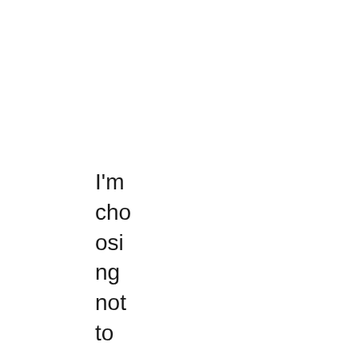I'm cho osi ng not to see that as caff ein